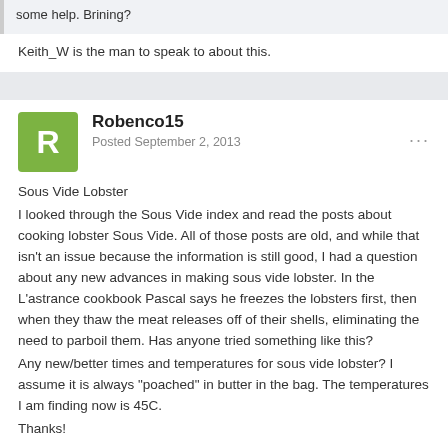some help. Brining?
Keith_W is the man to speak to about this.
Robenco15
Posted September 2, 2013
Sous Vide Lobster
I looked through the Sous Vide index and read the posts about cooking lobster Sous Vide. All of those posts are old, and while that isn't an issue because the information is still good, I had a question about any new advances in making sous vide lobster. In the L'astrance cookbook Pascal says he freezes the lobsters first, then when they thaw the meat releases off of their shells, eliminating the need to parboil them. Has anyone tried something like this?
Any new/better times and temperatures for sous vide lobster? I assume it is always "poached" in butter in the bag. The temperatures I am finding now is 45C.
Thanks!